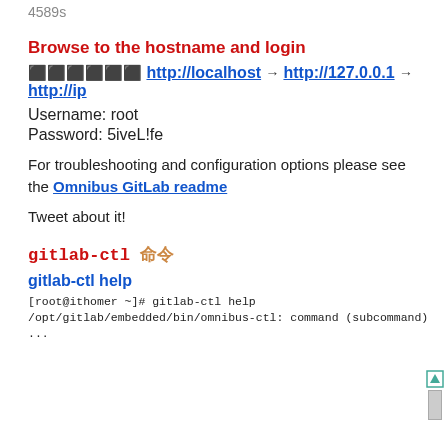4589s
Browse to the hostname and login
⬛⬛⬛⬛⬛⬛ http://localhost → http://127.0.0.1 → http://ip
Username: root
Password: 5iveL!fe
For troubleshooting and configuration options please see the Omnibus GitLab readme
Tweet about it!
gitlab-ctl 命令
gitlab-ctl help
[root@ithomer ~]# gitlab-ctl help
/opt/gitlab/embedded/bin/omnibus-ctl: command (subcommand)
...